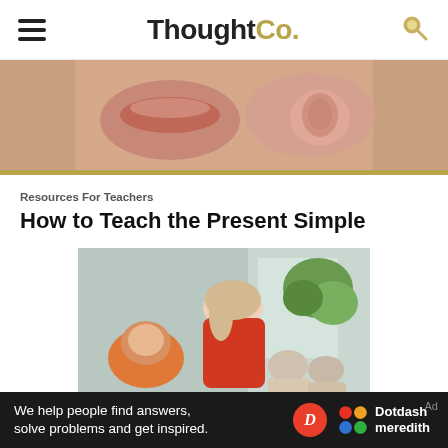ThoughtCo.
[Figure (photo): Close-up photograph of two mouths — one with lips puckered and one with tongue rolled]
[Figure (photo): Teacher in red top leaning over to help a student wearing an orange hijab; other students visible in background in a classroom]
Resources For Teachers
How to Teach the Present Simple
We help people find answers, solve problems and get inspired.